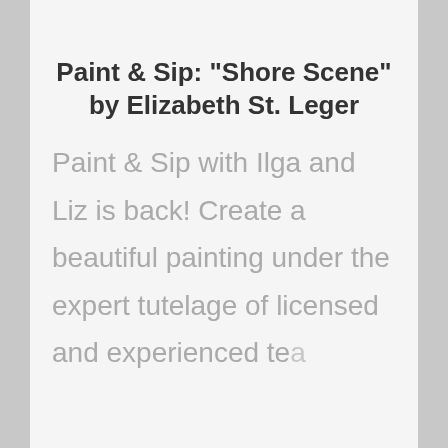Paint & Sip: "Shore Scene" by Elizabeth St. Leger
Paint & Sip with Ilga and Liz is back! Create a beautiful painting under the expert tutelage of licensed and experienced teachers